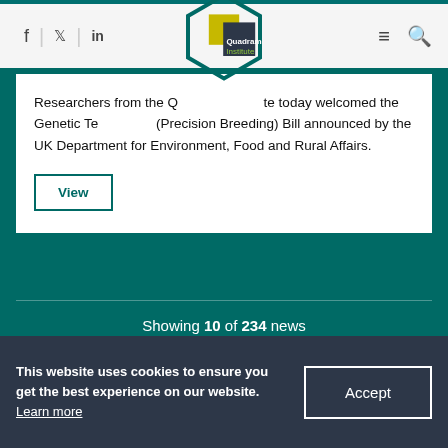[Figure (logo): Quadram Institute logo with teal diamond outline and yellow/dark square]
Researchers from the Q[uadram] [Institu]te today welcomed the Genetic Te[chnology] (Precision Breeding) Bill announced by the UK Department for Environment, Food and Rural Affairs.
View
Showing 10 of 234 news
Page:
This website uses cookies to ensure you get the best experience on our website. Learn more
Accept